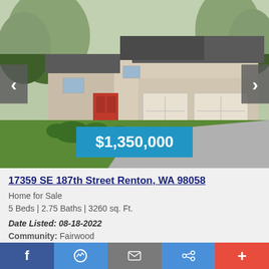[Figure (photo): Exterior photo of a large two-story residential home with three-car garage, red front door, gray roof, and lush green front lawn. Price overlay shows $1,350,000.]
17359 SE 187th Street Renton, WA 98058
Home for Sale
5 Beds | 2.75 Baths | 3260 sq. Ft.
Date Listed: 08-18-2022
Community: Fairwood
Exquisitely remodeled in The Parks! 5 bed+Bonus/3 bath. Enter to soaring vaulted ceilings & large light-
f  [messenger]  [email]  [share]  +